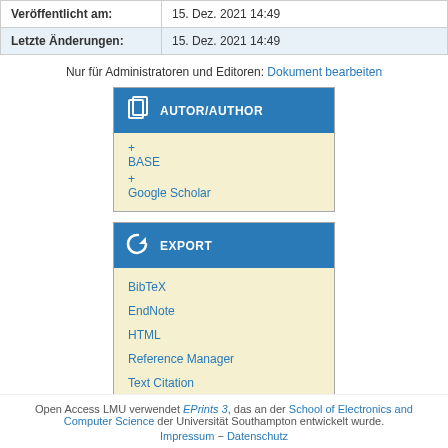|  |  |
| --- | --- |
| Veröffentlicht am: | 15. Dez. 2021 14:49 |
| Letzte Änderungen: | 15. Dez. 2021 14:49 |
Nur für Administratoren und Editoren: Dokument bearbeiten
[Figure (other): AUTOR/AUTHOR widget box with links to BASE and Google Scholar]
[Figure (other): EXPORT widget box with links to BibTeX, EndNote, HTML, Reference Manager, Text Citation]
Open Access LMU verwendet EPrints 3, das an der School of Electronics and Computer Science der Universität Southampton entwickelt wurde. Impressum – Datenschutz